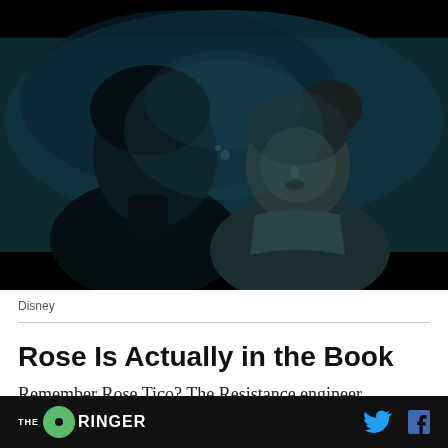[Figure (photo): Dark cinematic still from a film showing two figures about to kiss in a dimly lit blue-green toned scene. One figure faces away from camera, the other faces forward with hair in a bun.]
Disney
Rose Is Actually in the Book
Remember Rose Tico? The Resistance engineer
THE RINGER